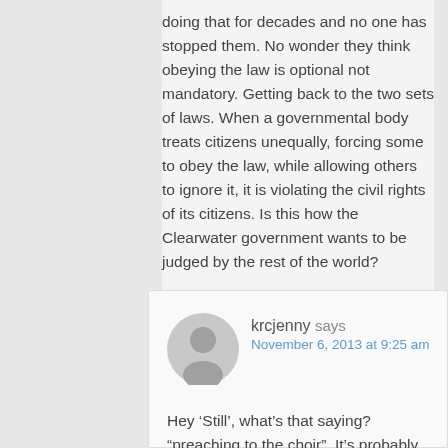doing that for decades and no one has stopped them. No wonder they think obeying the law is optional not mandatory. Getting back to the two sets of laws. When a governmental body treats citizens unequally, forcing some to obey the law, while allowing others to ignore it, it is violating the civil rights of its citizens. Is this how the Clearwater government wants to be judged by the rest of the world?
Reply
krcjenny says
November 6, 2013 at 9:25 am
Hey ‘Still’, what’s that saying? “preaching to the choir”. It’s probably not too late to make your point to the right terminals at